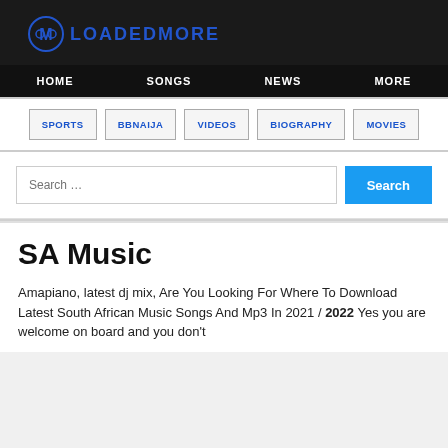LOADEDMORE
HOME   SONGS   NEWS   MORE
SPORTS   BBNAIJA   VIDEOS   BIOGRAPHY   MOVIES
Search …
SA Music
Amapiano, latest dj mix, Are You Looking For Where To Download Latest South African Music Songs And Mp3 In 2021 / 2022 Yes you are welcome on board and you don't